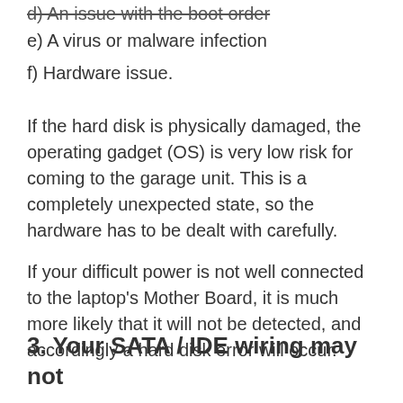d) An issue with the boot order
e) A virus or malware infection
f) Hardware issue.
If the hard disk is physically damaged, the operating gadget (OS) is very low risk for coming to the garage unit. This is a completely unexpected state, so the hardware has to be dealt with carefully.
If your difficult power is not well connected to the laptop's Mother Board, it is much more likely that it will not be detected, and accordingly a hard disk error will occur.
3. Your SATA / IDE wiring may not